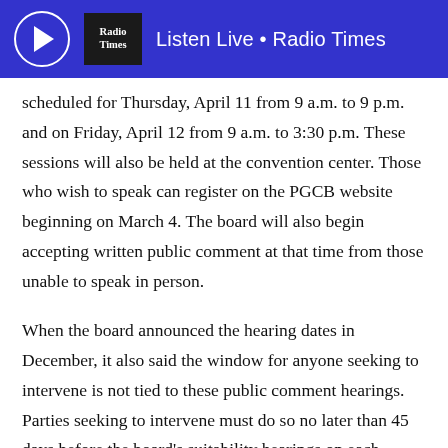Listen Live • Radio Times
scheduled for Thursday, April 11 from 9 a.m. to 9 p.m. and on Friday, April 12 from 9 a.m. to 3:30 p.m. These sessions will also be held at the convention center. Those who wish to speak can register on the PGCB website beginning on March 4. The board will also begin accepting written public comment at that time from those unable to speak in person.
When the board announced the hearing dates in December, it also said the window for anyone seeking to intervene is not tied to these public comment hearings. Parties seeking to intervene must do so no later than 45 days before the board's suitability hearings on each applicant. Those suitability hearings, which will help the board determine who gets the license, have not yet been